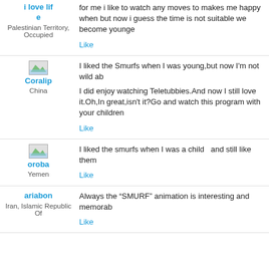i love life
Palestinian Territory, Occupied
for me i like to watch any moves to makes me happy when but now i guess the time is not suitable we become younge
Like
Coralip
China
I liked the Smurfs when I was young,but now I'm not wild ab
I did enjoy watching Teletubbies.And now I still love it.Oh,In great,isn't it?Go and watch this program with your children
Like
oroba
Yemen
I liked the smurfs when I was a child  and still like them
Like
ariabon
Iran, Islamic Republic Of
Always the “SMURF” animation is interesting and memorab
Like